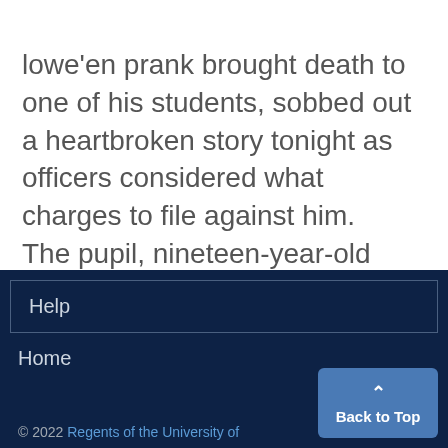lowe'en prank brought death to one of his students, sobbed out a heartbroken story tonight as officers considered what charges to file against him. The pupil, nineteen-year-old Glenn Aldridge, died in a Kansas City hos-
Help
Home
© 2022 Regents of the University of
Back to Top